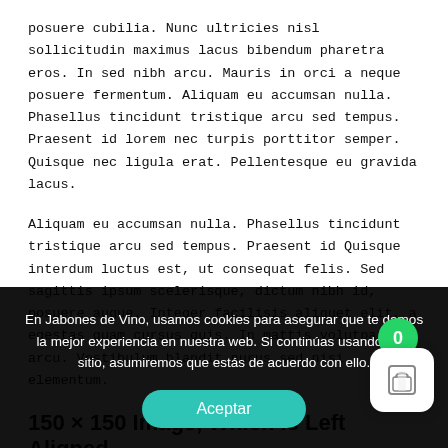posuere cubilia. Nunc ultricies nisl sollicitudin maximus lacus bibendum pharetra eros. In sed nibh arcu. Mauris in orci a neque posuere fermentum. Aliquam eu accumsan nulla. Phasellus tincidunt tristique arcu sed tempus. Praesent id lorem nec turpis porttitor semper. Quisque nec ligula erat. Pellentesque eu gravida lacus.
Aliquam eu accumsan nulla. Phasellus tincidunt tristique arcu sed tempus. Praesent id Quisque interdum luctus est, ut consequat felis. Sed sagittis ipsum scelerisque, dictum nibh id, posuere augue. Integer facilisis aliquet elit, a egestas quam cursus quis. In mattis volutpat arcu. Vestibulum blandit purus sed nisi elementum.
150 × 150 Image, Which is Left Aligned
Lorem ipsum dolor sit amet, consectetur adipiscing elit. Donec...
En Jabones de Vino, usamos cookies para asegurar que te damos la mejor experiencia en nuestra web. Si continúas usando este sitio, asumiremos que estás de acuerdo con ello.
Aceptar